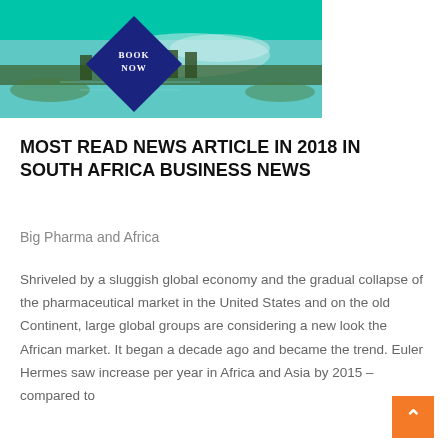[Figure (illustration): Travel advertisement banner with teal/turquoise background, a scenic fjord/lake landscape with a red building among trees, and a dark navy blue diamond shape in the center with 'BOOK NOW' text in white serif font.]
MOST READ NEWS ARTICLE IN 2018 IN SOUTH AFRICA BUSINESS NEWS
Big Pharma and Africa
Shriveled by a sluggish global economy and the gradual collapse of the pharmaceutical market in the United States and on the old Continent, large global groups are considering a new look the African market. It began a decade ago and became the trend. Euler Hermes saw increase per year in Africa and Asia by 2015 – compared to only 1.2 percent in North America and 0.4 percent in…